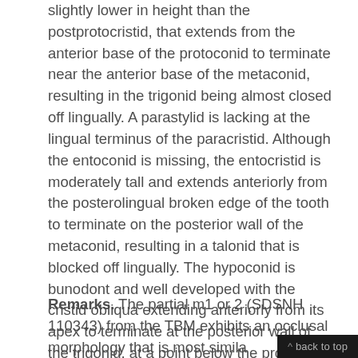slightly lower in height than the postprotocristid, that extends from the anterior base of the protoconid to terminate near the anterior base of the metaconid, resulting in the trigonid being almost closed off lingually. A parastylid is lacking at the lingual terminus of the paracristid. Although the entoconid is missing, the entocristid is moderately tall and extends anteriorly from the posterolingual broken edge of the tooth to terminate on the posterior wall of the metaconid, resulting in a talonid that is blocked off lingually. The hypoconid is bunodont and well developed with the cristid obliqua extending anteriorly from its apex to terminate at the posterior wall of the trigonid, at a point below the protoconid apex. The anterior cingulid is very weak, extending only a short distance labially from the anterolabial base of the protoconid as a slight ridge on the enamel surface that fades out about halfway across the middle of the anterior face of the protoconid. Labial and posterior cingulids are lacking.
Remarks. The partial m1 or 2 (SDSNH 110343) from the TBM exhibits an occlusal morphology that is most similar to members of the Sespedectidae, including the following: 1) an